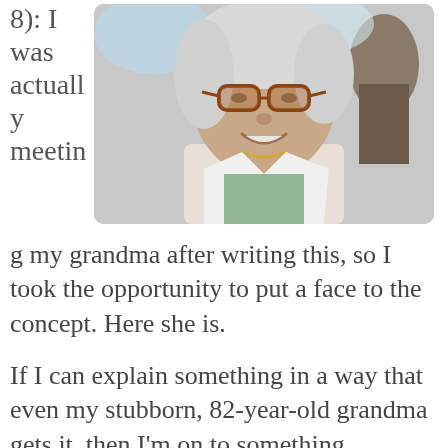8): I was actually meeting my grandma after writing this, so I took the opportunity to put a face to the concept. Here she is.
[Figure (photo): Portrait photo of an elderly woman with white/grey hair and glasses, smiling outdoors.]
If I can explain something in a way that even my stubborn, 82-year-old grandma gets it, then I'm on to something.
My formal education is Technological Socio-Economical Planner.